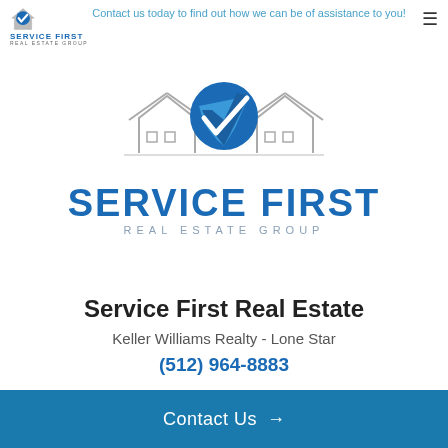Contact us today to find out how we can be of assistance to you!
[Figure (logo): Service First Real Estate Group logo with house icon and checkmark, large centered version with 'SERVICE FIRST' in blue bold text and 'REAL ESTATE GROUP' in grey spaced letters below]
Service First Real Estate
Keller Williams Realty - Lone Star
(512) 964-8883
Contact Us →